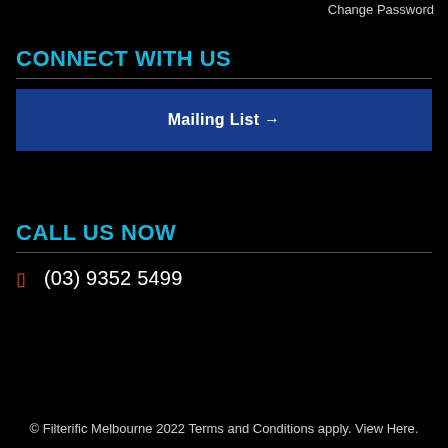Change Password
CONNECT WITH US
Mailing List →
CALL US NOW
(03) 9352 5499
© Filterific Melbourne 2022 Terms and Conditions apply. View Here.